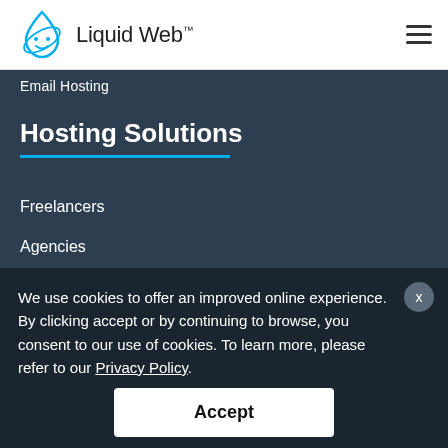Liquid Web™
Email Hosting
Hosting Solutions
Freelancers
Agencies
Business Owners
Resellers
Enterprise
Application Hosting
We use cookies to offer an improved online experience. By clicking accept or by continuing to browse, you consent to our use of cookies. To learn more, please refer to our Privacy Policy.
Partners
CHAT WITH A HUMAN
Accept